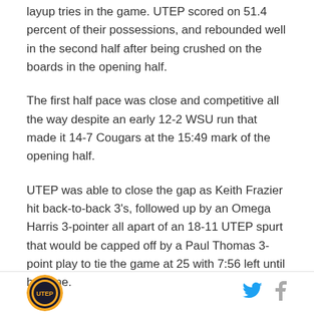layup tries in the game. UTEP scored on 51.4 percent of their possessions, and rebounded well in the second half after being crushed on the boards in the opening half.
The first half pace was close and competitive all the way despite an early 12-2 WSU run that made it 14-7 Cougars at the 15:49 mark of the opening half.
UTEP was able to close the gap as Keith Frazier hit back-to-back 3's, followed up by an Omega Harris 3-pointer all apart of an 18-11 UTEP spurt that would be capped off by a Paul Thomas 3-point play to tie the game at 25 with 7:56 left until halftime.
[Figure (logo): Circular sports team logo with orange border]